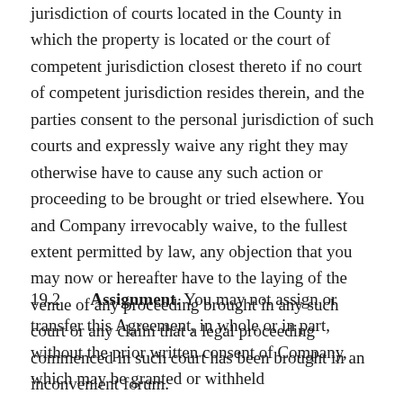jurisdiction of courts located in the County in which the property is located or the court of competent jurisdiction closest thereto if no court of competent jurisdiction resides therein, and the parties consent to the personal jurisdiction of such courts and expressly waive any right they may otherwise have to cause any such action or proceeding to be brought or tried elsewhere. You and Company irrevocably waive, to the fullest extent permitted by law, any objection that you may now or hereafter have to the laying of the venue of any proceeding brought in any such court or any claim that a legal proceeding commenced in such court has been brought in an inconvenient forum.
19.2	Assignment. You may not assign or transfer this Agreement, in whole or in part, without the prior written consent of Company, which may be granted or withheld